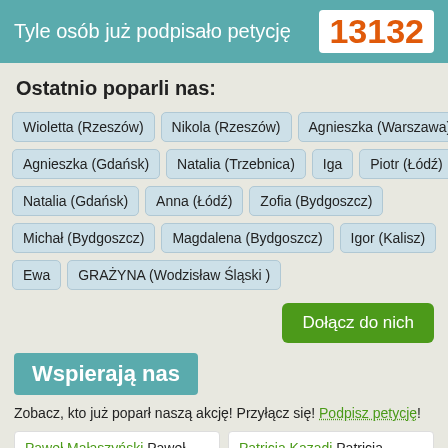Tyle osób już podpisało petycję 13132
Ostatnio poparli nas:
Wioletta (Rzeszów)
Nikola (Rzeszów)
Agnieszka (Warszawa)
Agnieszka (Gdańsk)
Natalia (Trzebnica)
Iga
Piotr (Łódź)
Natalia (Gdańsk)
Anna (Łódź)
Zofia (Bydgoszcz)
Michał (Bydgoszcz)
Magdalena (Bydgoszcz)
Igor (Kalisz)
Ewa
GRAŻYNA (Wodzisław Śląski )
Dołącz do nich
Wspierają nas
Zobacz, kto już poparł naszą akcję! Przyłącz się! Podpisz petycję!
Paweł Małaszyński Paweł Małaszyński
Patricia Kazadi Patricia Kazadi
Paulina Holtz Paulina Holtz
Kinga Rusin Kinga Rusin